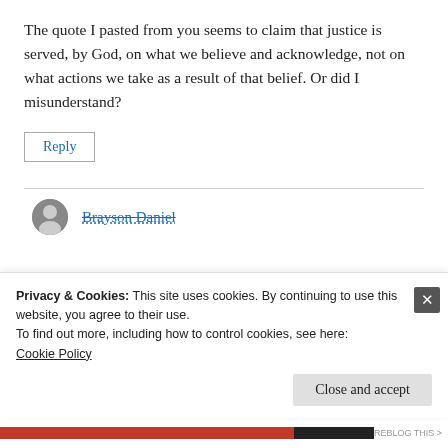The quote I pasted from you seems to claim that justice is served, by God, on what we believe and acknowledge, not on what actions we take as a result of that belief. Or did I misunderstand?
Reply
Brayson Daniel
Privacy & Cookies: This site uses cookies. By continuing to use this website, you agree to their use.
To find out more, including how to control cookies, see here:
Cookie Policy
Close and accept